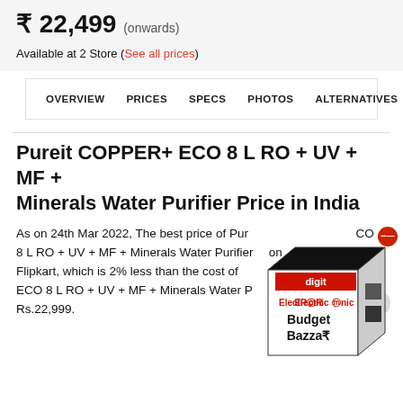₹ 22,499 (onwards)
Available at 2 Store (See all prices)
OVERVIEW   PRICES   SPECS   PHOTOS   ALTERNATIVES
Pureit COPPER+ ECO 8 L RO + UV + MF + Minerals Water Purifier Price in India
As on 24th Mar 2022, The best price of Pureit COPPER+ ECO 8 L RO + UV + MF + Minerals Water Purifier is on Flipkart, which is 2% less than the cost of Pureit COPPER+ ECO 8 L RO + UV + MF + Minerals Water Purifier on Amazon Rs.22,999.
[Figure (other): ElectRonic Budget Bazzar advertisement box with digit logo and red close button]